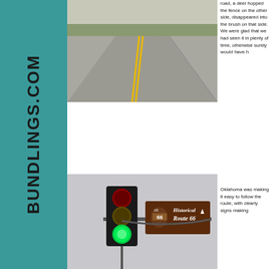[Figure (photo): Road with double yellow center lines, two-lane highway stretching into the distance with flat landscape]
road, a deer hopped the fence on the other side, disappeared into the brush on that side. We were glad that we had seen it in plenty of time, otherwise surely would have h
[Figure (photo): Traffic light showing green light next to a brown Historical Route 66 road sign with an arrow pointing up]
Oklahoma was making it easy to follow the route, with clearly signs making